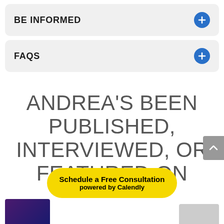BE INFORMED
FAQS
ANDREA'S BEEN PUBLISHED, INTERVIEWED, OR FEATURED ON
Schedule a Free Consultation powered by Calendly